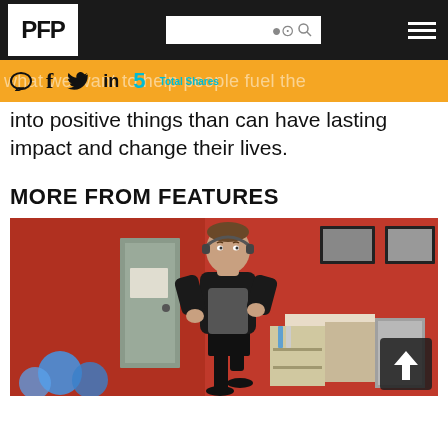PFP
what we want to help people fuel the energy into positive things than can have lasting impact and change their lives.
MORE FROM FEATURES
[Figure (photo): A man in athletic wear running or doing high knees in a gym with red walls, exercise equipment and balls visible in the background.]